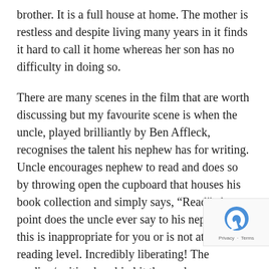brother. It is a full house at home. The mother is restless and despite living many years in it finds it hard to call it home whereas her son has no difficulty in doing so.
There are many scenes in the film that are worth discussing but my favourite scene is when the uncle, played brilliantly by Ben Affleck, recognises the talent his nephew has for writing. Uncle encourages nephew to read and does so by throwing open the cupboard that houses his book collection and simply says, “Read”. At no point does the uncle ever say to his nephew that this is inappropriate for you or is not at your reading level. Incredibly liberating! The reading/writing bug big bit the nephew. Ultimately, he got a place at full-sponsored seat at Yale University.